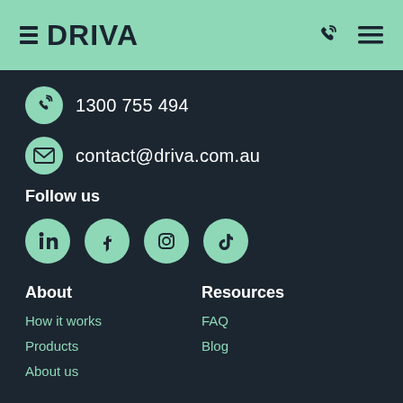DRIVA
1300 755 494
contact@driva.com.au
Follow us
[Figure (illustration): Social media icons: LinkedIn, Facebook, Instagram, TikTok]
About
Resources
How it works
FAQ
Products
Blog
About us